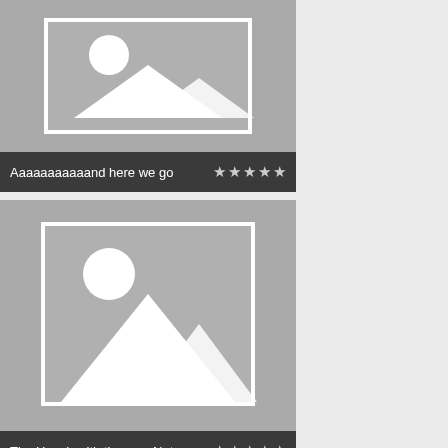[Figure (screenshot): App screenshot showing a list of media cards. Card 1 (partially visible at top) with placeholder image and label 'Aaaaaaaaaaand here we go' with 5 stars. Card 2 (full) with placeholder image and label 'The Hooch with the new Net' with 5 stars. Card 3 (partially visible at bottom) with placeholder image. Right side shows a light gray sidebar.]
Aaaaaaaaaaand here we go ★★★★★
The Hooch with the new Net ★★★★★